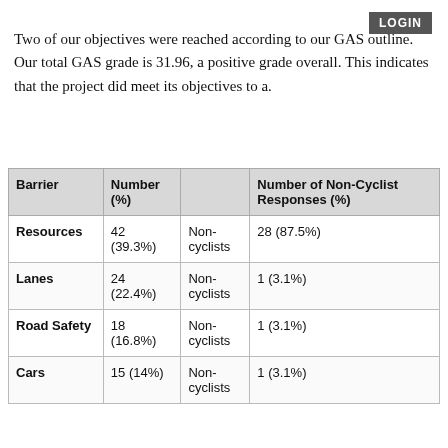LOGIN
Two of our objectives were reached according to our GAS outline. Our total GAS grade is 31.96, a positive grade overall. This indicates that the project did meet its objectives to a.
| Barrier | Number (%) |  | Number of Non-Cyclist Responses (%) |
| --- | --- | --- | --- |
| Resources | 42 (39.3%) | Non-cyclists | 28 (87.5%) |
| Lanes | 24 (22.4%) | Non-cyclists | 1 (3.1%) |
| Road Safety | 18 (16.8%) | Non-cyclists | 1 (3.1%) |
| Cars | 15 (14%) | Non-cyclists | 1 (3.1%) |